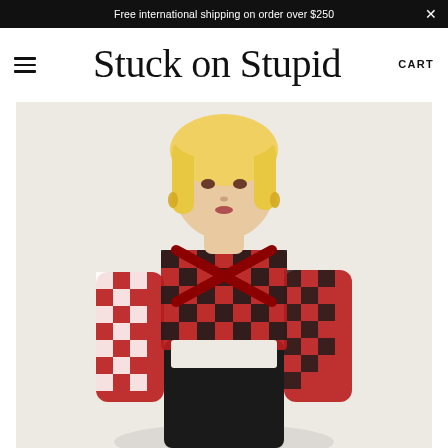Free international shipping on order over $250
Stuck on Stupid
CART
[Figure (photo): Model with blonde hair wearing a red and black checkered cut-out bodysuit with cross straps, long sleeves, and a black bottom section, photographed against a light background.]